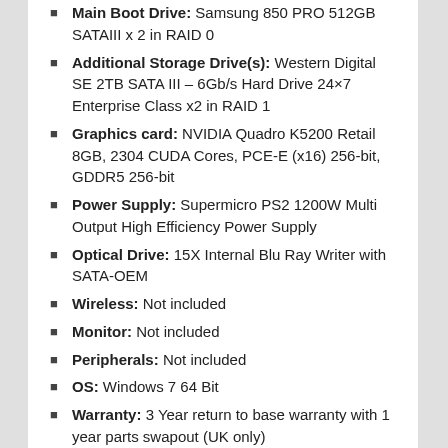Main Boot Drive: Samsung 850 PRO 512GB SATAIII x 2 in RAID 0
Additional Storage Drive(s): Western Digital SE 2TB SATA III – 6Gb/s Hard Drive 24×7 Enterprise Class x2 in RAID 1
Graphics card: NVIDIA Quadro K5200 Retail 8GB, 2304 CUDA Cores, PCE-E (x16) 256-bit, GDDR5 256-bit
Power Supply: Supermicro PS2 1200W Multi Output High Efficiency Power Supply
Optical Drive: 15X Internal Blu Ray Writer with SATA-OEM
Wireless: Not included
Monitor: Not included
Peripherals: Not included
OS: Windows 7 64 Bit
Warranty: 3 Year return to base warranty with 1 year parts swapout (UK only)
Price: £9,118.87 inc VAT as configured Delivered.
We knew we were in for a treat when it came on its own